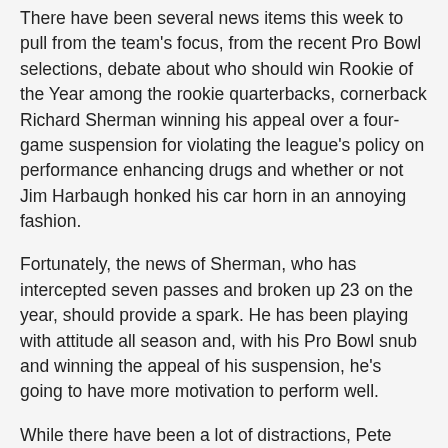There have been several news items this week to pull from the team's focus, from the recent Pro Bowl selections, debate about who should win Rookie of the Year among the rookie quarterbacks, cornerback Richard Sherman winning his appeal over a four-game suspension for violating the league's policy on performance enhancing drugs and whether or not Jim Harbaugh honked his car horn in an annoying fashion.
Fortunately, the news of Sherman, who has intercepted seven passes and broken up 23 on the year, should provide a spark. He has been playing with attitude all season and, with his Pro Bowl snub and winning the appeal of his suspension, he's going to have more motivation to perform well.
While there have been a lot of distractions, Pete